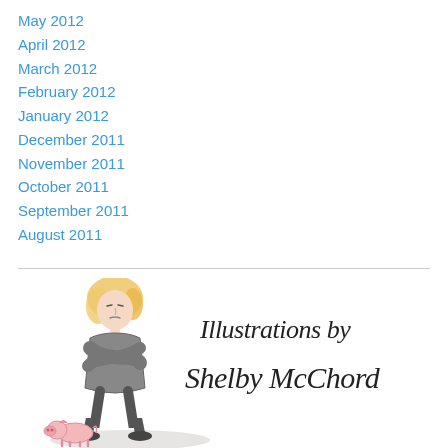May 2012
April 2012
March 2012
February 2012
January 2012
December 2011
November 2011
October 2011
September 2011
August 2011
[Figure (illustration): Cartoon illustration of a woman with blonde curly hair wearing a grey outfit, standing with arms crossed, with a small pig at her feet. Text reads 'Illustrations by Shelby McChord' in handwritten style.]